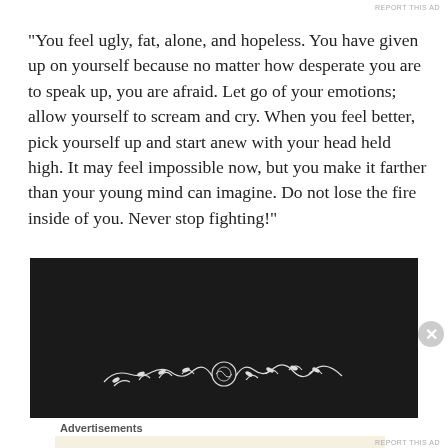REPORT THIS AD
“You feel ugly, fat, alone, and hopeless.  You have given up on yourself because no matter how desperate you are to speak up, you are afraid.  Let go of your emotions; allow yourself to scream and cry.  When you feel better, pick yourself up and start anew with your head held high.  It may feel impossible now, but you make it farther than your young mind can imagine.  Do not lose the fire inside of you.  Never stop fighting!”
[Figure (photo): Dark black background image with a decorative white floral/vine ornament at the bottom center]
Advertisements
[Figure (infographic): WordPress advertisement banner with text 'Professionally designed sites in less than a week' and WordPress logo on beige background]
REPORT THIS AD